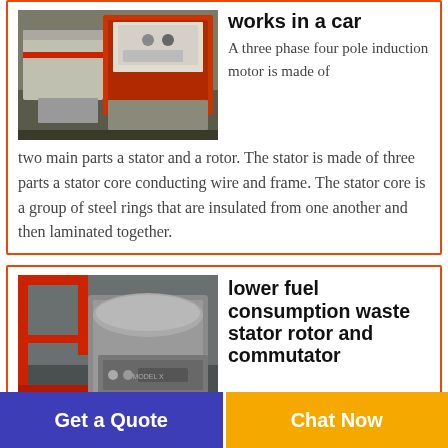[Figure (photo): Industrial machinery photo showing a large red and white machine on a factory floor]
works in a car
A three phase four pole induction motor is made of two main parts a stator and a rotor. The stator is made of three parts a stator core conducting wire and frame. The stator core is a group of steel rings that are insulated from one another and then laminated together.
[Figure (photo): Industrial machinery photo showing a large grey machine in a factory with red structural elements]
lower fuel consumption waste stator rotor and commutator
lower fuel